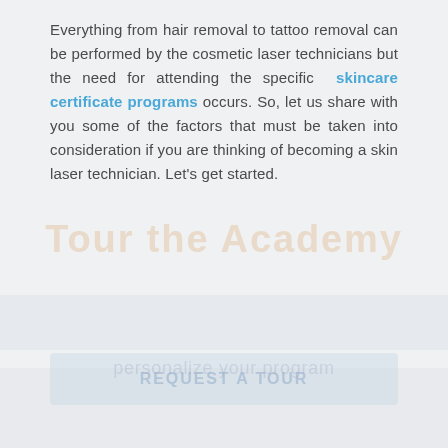Everything from hair removal to tattoo removal can be performed by the cosmetic laser technicians but the need for attending the specific skincare certificate programs occurs. So, let us share with you some of the factors that must be taken into consideration if you are thinking of becoming a skin laser technician. Let's get started.